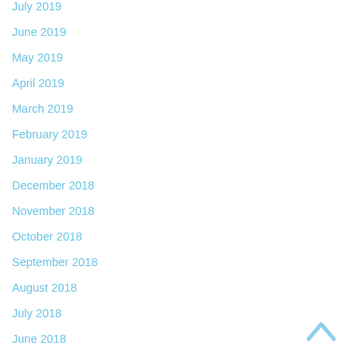July 2019
June 2019
May 2019
April 2019
March 2019
February 2019
January 2019
December 2018
November 2018
October 2018
September 2018
August 2018
July 2018
June 2018
May 2018
[Figure (illustration): Up arrow chevron icon in light blue]